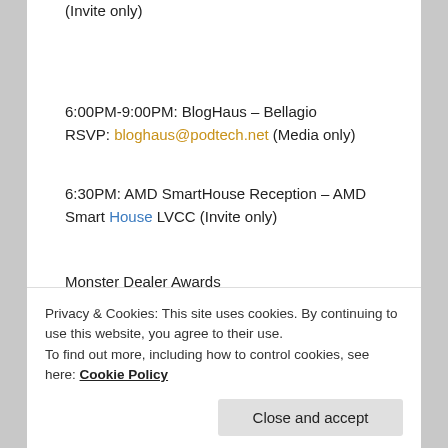(Invite only)
6:00PM-9:00PM: BlogHaus – Bellagio
RSVP: bloghaus@podtech.net (Media only)
6:30PM: AMD SmartHouse Reception – AMD Smart House LVCC (Invite only)
Monster Dealer Awards
Seating: 7:00PM Award Presentation: 9:00PM
Privacy & Cookies: This site uses cookies. By continuing to use this website, you agree to their use.
To find out more, including how to control cookies, see here: Cookie Policy
Close and accept